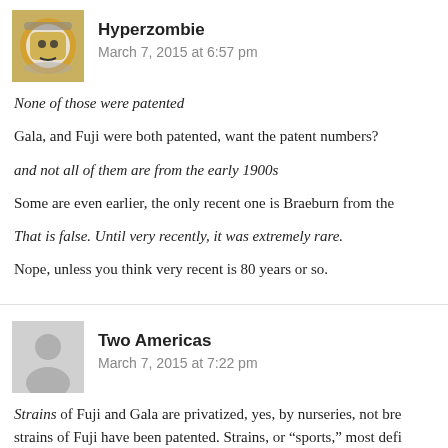[Figure (photo): Avatar photo of Hyperzombie — a skeleton in a spacesuit helmet]
Hyperzombie
March 7, 2015 at 6:57 pm
None of those were patented
Gala, and Fuji were both patented, want the patent numbers?
and not all of them are from the early 1900s
Some are even earlier, the only recent one is Braeburn from the
That is false. Until very recently, it was extremely rare.
Nope, unless you think very recent is 80 years or so.
[Figure (illustration): Generic grey silhouette avatar for Two Americas]
Two Americas
March 7, 2015 at 7:22 pm
Strains of Fuji and Gala are privatized, yes, by nurseries, not bre strains of Fuji have been patented. Strains, or “sports,” most defi which demolishes your “new crop varieties don’t show up on thei New sports are not new varieties in any case.
(To the lay readers here: He is desperately trying to cloud the wa